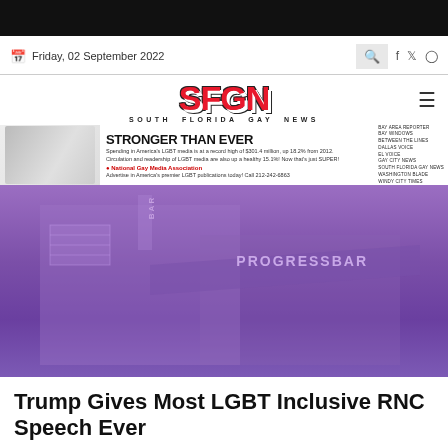Friday, 02 September 2022
[Figure (logo): SFGN South Florida Gay News logo with red bold text and black outline, subtitle SOUTH FLORIDA GAY NEWS]
[Figure (photo): Advertisement banner: Stronger Than Ever - National Gay Media Association ad with two people and text about LGBT media spending]
[Figure (photo): Hero image of Progress Bar building exterior with purple/violet color overlay, showing the PROGRESSBAR sign on a building facade]
Trump Gives Most LGBT Inclusive RNC Speech Ever